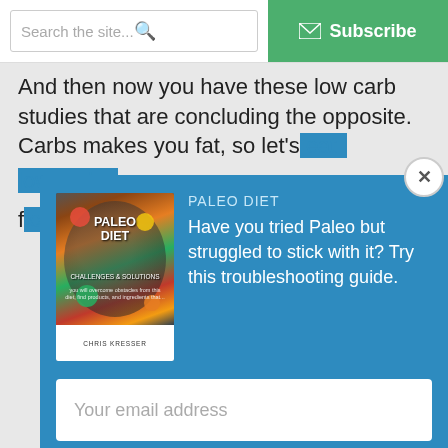Search the site...  Subscribe
And then now you have these low carb studies that are concluding the opposite. Carbs makes you fat, so let's eat low carb, and then now you have... and that's how this all feeds the confusion.
[Figure (screenshot): Modal popup overlay on a website with a blue background. Contains a Paleo Diet book cover image on the left, text 'PALEO DIET - Have you tried Paleo but struggled to stick with it? Try this troubleshooting guide.' on the right, an email input field, and a green Download Now button. A close (X) button appears in the top right corner of the modal.]